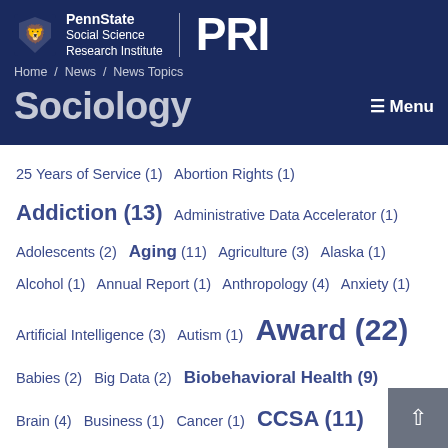[Figure (screenshot): PennState Social Science Research Institute PRI header banner with navigation breadcrumb: Home / News / News Topics]
Sociology
25 Years of Service (1) Abortion Rights (1) Addiction (13) Administrative Data Accelerator (1) Adolescents (2) Aging (11) Agriculture (3) Alaska (1) Alcohol (1) Annual Report (1) Anthropology (4) Anxiety (1) Artificial Intelligence (3) Autism (1) Award (22) Babies (2) Big Data (2) Biobehavioral Health (9) Brain (4) Business (1) Cancer (1) CCSA (11) Celebration (3) Census (8) Center for Education and Civil Rights (6) Center for Educational Disparities (26) Center for Sec... Research and Education (4) Center on Education and Civil